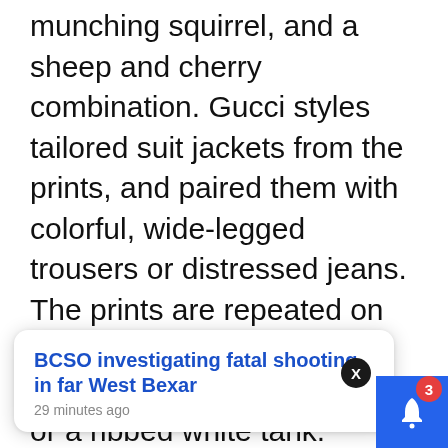munching squirrel, and a sheep and cherry combination. Gucci styles tailored suit jackets from the prints, and paired them with colorful, wide-legged trousers or distressed jeans. The prints are repeated on pajamas, while patches inject whimsy onto knitwear or a ribbed white tank. Accessories include an updated Jackie Bag covered with grommets.

Mixed on the racks of the vintage [collection was] [in the] stock.
BCSO investigating fatal shooting in far West Bexar
29 minutes ago